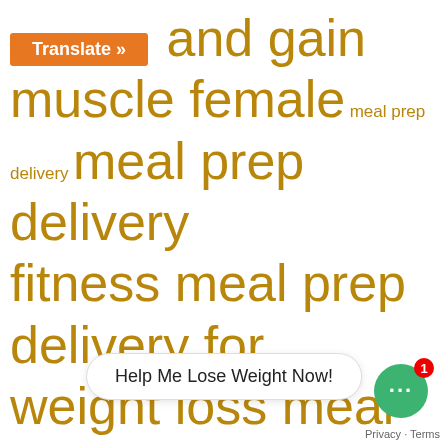[Figure (screenshot): Tag cloud on a health/diet website showing various meal prep and diet-related keyword tags in gold/olive color, with a 'Translate' button overlay. A chat widget with 'Help Me Lose Weight Now!' bubble is visible at the bottom.]
and gain muscle female meal prep delivery meal prep delivery fitness meal prep delivery for weight loss meal prep services near me meal prep under 1200 calories men's health superfoods list menu for breakfast lunch and dinner in Kuala Lumpur menu plan for school going child milita... military diet plan menu